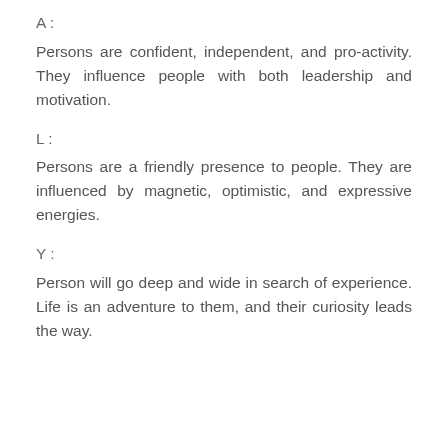A :
Persons are confident, independent, and pro-activity. They influence people with both leadership and motivation.
L :
Persons are a friendly presence to people. They are influenced by magnetic, optimistic, and expressive energies.
Y :
Person will go deep and wide in search of experience. Life is an adventure to them, and their curiosity leads the way.